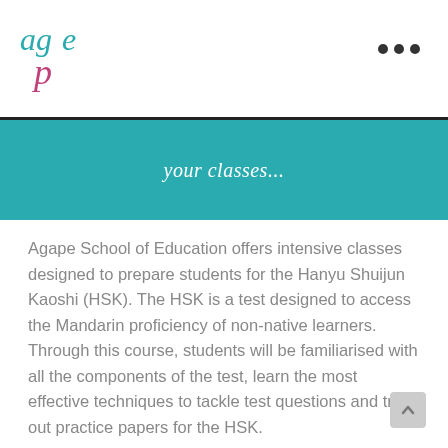Agape School of Education logo and navigation menu
your classes...
Agape School of Education offers intensive classes designed to prepare students for the Hanyu Shuijun Kaoshi (HSK). The HSK is a test designed to access the Mandarin proficiency of non-native learners. Through this course, students will be familiarised with all the components of the test, learn the most effective techniques to tackle test questions and try out practice papers for the HSK.
Agape School of Education offers two types